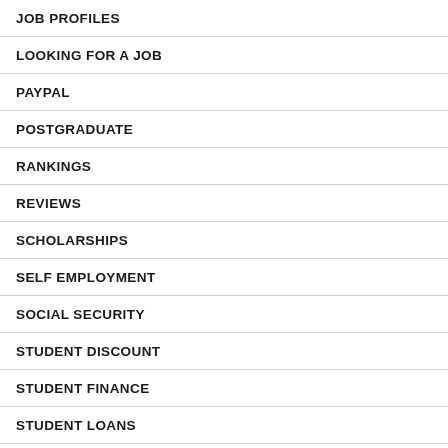JOB PROFILES
LOOKING FOR A JOB
PAYPAL
POSTGRADUATE
RANKINGS
REVIEWS
SCHOLARSHIPS
SELF EMPLOYMENT
SOCIAL SECURITY
STUDENT DISCOUNT
STUDENT FINANCE
STUDENT LOANS